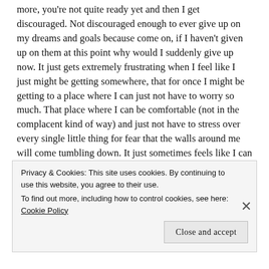more, you're not quite ready yet and then I get discouraged. Not discouraged enough to ever give up on my dreams and goals because come on, if I haven't given up on them at this point why would I suddenly give up now. It just gets extremely frustrating when I feel like I just might be getting somewhere, that for once I might be getting to a place where I can just not have to worry so much. That place where I can be comfortable (not in the complacent kind of way) and just not have to stress over every single little thing for fear that the walls around me will come tumbling down. It just sometimes feels like I can get close enough to touch the dream but never quite close enough to actually have it.
Privacy & Cookies: This site uses cookies. By continuing to use this website, you agree to their use.
To find out more, including how to control cookies, see here: Cookie Policy
Close and accept